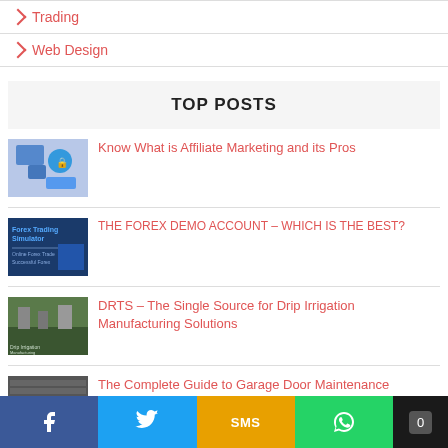Trading
Web Design
TOP POSTS
[Figure (illustration): Thumbnail image for affiliate marketing article showing a shield/lock icon]
Know What is Affiliate Marketing and its Pros
[Figure (illustration): Thumbnail image for Forex Trading Simulator article]
THE FOREX DEMO ACCOUNT – WHICH IS THE BEST?
[Figure (illustration): Thumbnail image for DRTS drip irrigation article]
DRTS – The Single Source for Drip Irrigation Manufacturing Solutions
[Figure (illustration): Thumbnail image for garage door maintenance article]
The Complete Guide to Garage Door Maintenance